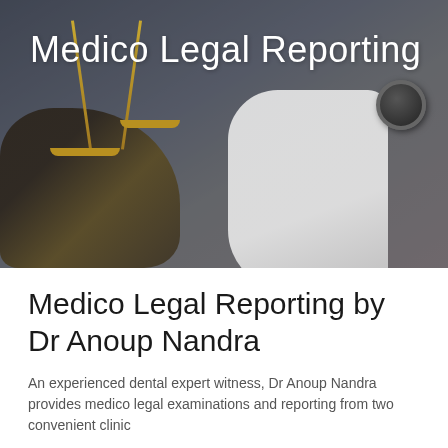[Figure (photo): Hero banner photograph showing a judge's gavel, scales of justice (gold), and a doctor's white coat arm holding a stethoscope, with a dark overlay. Blurred background with grey-blue tones.]
Medico Legal Reporting
Medico Legal Reporting by Dr Anoup Nandra
An experienced dental expert witness, Dr Anoup Nandra provides medico legal examinations and reporting from two convenient clinic